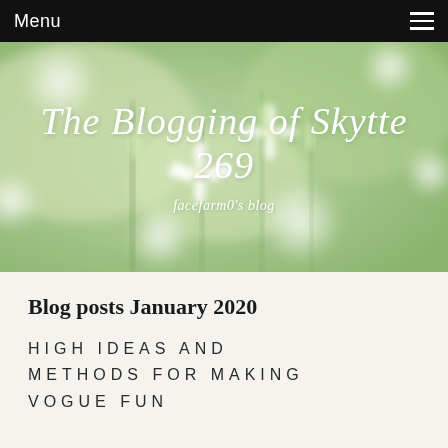Menu
[Figure (photo): Blurred green and white floral background with small white star-shaped flowers and green stems, used as hero banner image]
The Blogging of Skytte 269
facefarm0's blog
Blog posts January 2020
HIGH IDEAS AND METHODS FOR MAKING VOGUE FUN